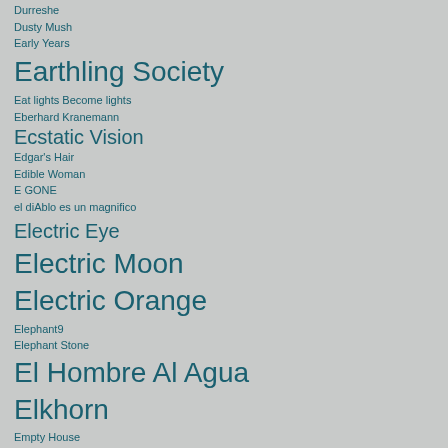Durreshe
Dusty Mush
Early Years
Earthling Society
Eat lights Become lights
Eberhard Kranemann
Ecstatic Vision
Edgar's Hair
Edible Woman
E GONE
el diAblo es un magnifico
Electric Eye
Electric Moon
Electric Orange
Elephant9
Elephant Stone
El Hombre Al Agua
Elkhorn
Empty House